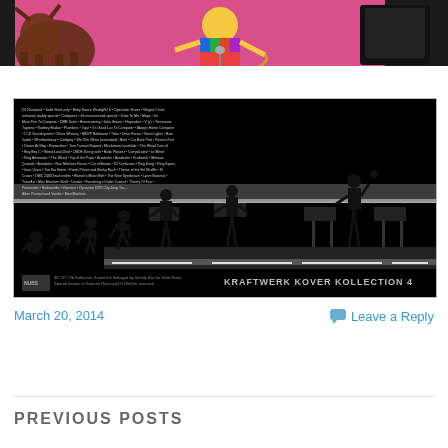[Figure (photo): Top portion of a colorful album cover image with pink background showing musicians/figures with instruments]
[Figure (illustration): Kraftwerk Kover Kollection 4 - black and white image showing human evolution silhouettes walking toward synthesizer workstations, with tracklist text in top left corner and title in bottom right]
March 20, 2014
Leave a Reply
PREVIOUS POSTS